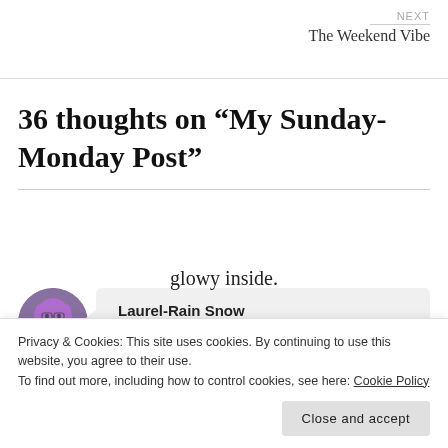NEXT
The Weekend Vibe
36 thoughts on “My Sunday-Monday Post”
Laurel-Rain Snow
Privacy & Cookies: This site uses cookies. By continuing to use this website, you agree to their use.
To find out more, including how to control cookies, see here: Cookie Policy
Close and accept
glowy inside.